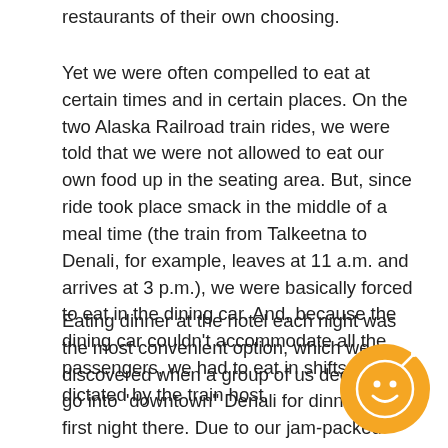restaurants of their own choosing.
Yet we were often compelled to eat at certain times and in certain places. On the two Alaska Railroad train rides, we were told that we were not allowed to eat our own food up in the seating area. But, since ride took place smack in the middle of a meal time (the train from Talkeetna to Denali, for example, leaves at 11 a.m. and arrives at 3 p.m.), we were basically forced to eat in the dining car. And, because the dining car couldn't accommodate all the passengers, we had to eat in shifts as dictated by the train host.
Eating dinner at the hotel each night was the most convenient option, which we discovered when a group of us decided to go into "downtown" Denali for dinner on our first night there. Due to our jam-packed tour schedule that day, we didn't arrive at the Salmon Bake restaurant until after 8 p.m., and we finished too late to catch the last hotel shuttle. The restaurant shuttle (many out-of-the-way Alaska restaurants and attractions provide them), left us stranded nearly an hour buying overpriced drinks in the bar before squeezing into a packed van full of young